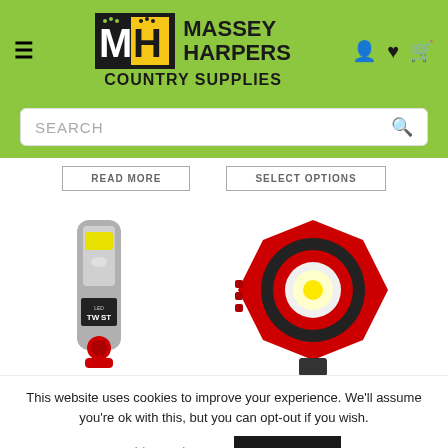[Figure (logo): Massey Harpers Country Supplies logo with green background, MH monogram in black and yellow, and site icons]
[Figure (screenshot): Search bar with placeholder text SEARCH and magnifying glass icon on green background]
[Figure (screenshot): Two product buttons: READ MORE and SELECT OPTIONS]
[Figure (photo): Two product images: an LED Twist torch on the left and a red circular COB work light on the right]
This website uses cookies to improve your experience. We'll assume you're ok with this, but you can opt-out if you wish.
Cookie settings   ACCEPT